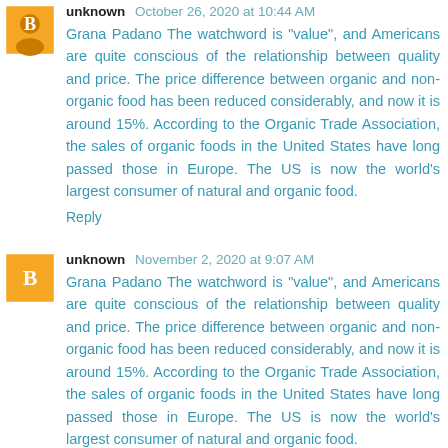unknown October 26, 2020 at 10:44 AM
Grana Padano The watchword is "value", and Americans are quite conscious of the relationship between quality and price. The price difference between organic and non-organic food has been reduced considerably, and now it is around 15%. According to the Organic Trade Association, the sales of organic foods in the United States have long passed those in Europe. The US is now the world's largest consumer of natural and organic food.
Reply
unknown November 2, 2020 at 9:07 AM
Grana Padano The watchword is "value", and Americans are quite conscious of the relationship between quality and price. The price difference between organic and non-organic food has been reduced considerably, and now it is around 15%. According to the Organic Trade Association, the sales of organic foods in the United States have long passed those in Europe. The US is now the world's largest consumer of natural and organic food.